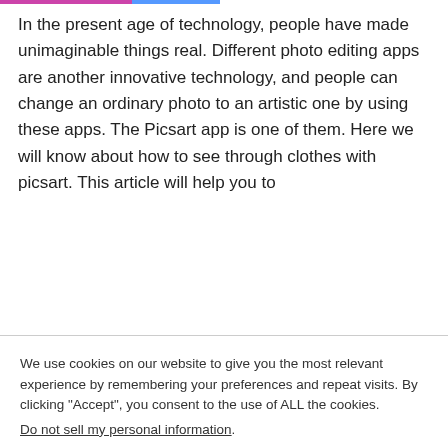In the present age of technology, people have made unimaginable things real. Different photo editing apps are another innovative technology, and people can change an ordinary photo to an artistic one by using these apps. The Picsart app is one of them. Here we will know about how to see through clothes with picsart. This article will help you to
» Read more
We use cookies on our website to give you the most relevant experience by remembering your preferences and repeat visits. By clicking "Accept", you consent to the use of ALL the cookies.
Do not sell my personal information.